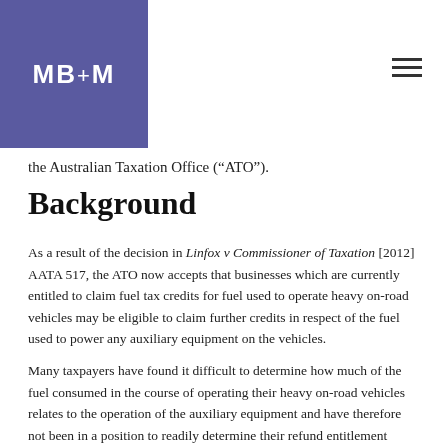MB+M
the Australian Taxation Office ("ATO").
Background
As a result of the decision in Linfox v Commissioner of Taxation [2012] AATA 517, the ATO now accepts that businesses which are currently entitled to claim fuel tax credits for fuel used to operate heavy on-road vehicles may be eligible to claim further credits in respect of the fuel used to power any auxiliary equipment on the vehicles.
Many taxpayers have found it difficult to determine how much of the fuel consumed in the course of operating their heavy on-road vehicles relates to the operation of the auxiliary equipment and have therefore not been in a position to readily determine their refund entitlement